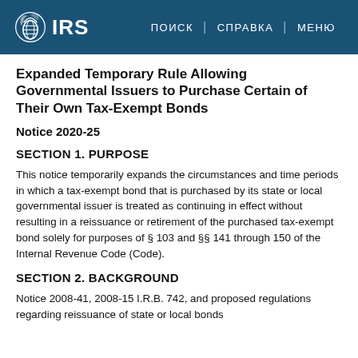IRS | ПОИСК | СПРАВКА | МЕНЮ
Expanded Temporary Rule Allowing Governmental Issuers to Purchase Certain of Their Own Tax-Exempt Bonds
Notice 2020-25
SECTION 1. PURPOSE
This notice temporarily expands the circumstances and time periods in which a tax-exempt bond that is purchased by its state or local governmental issuer is treated as continuing in effect without resulting in a reissuance or retirement of the purchased tax-exempt bond solely for purposes of § 103 and §§ 141 through 150 of the Internal Revenue Code (Code).
SECTION 2. BACKGROUND
Notice 2008-41, 2008-15 I.R.B. 742, and proposed regulations regarding reissuance of state or local bonds